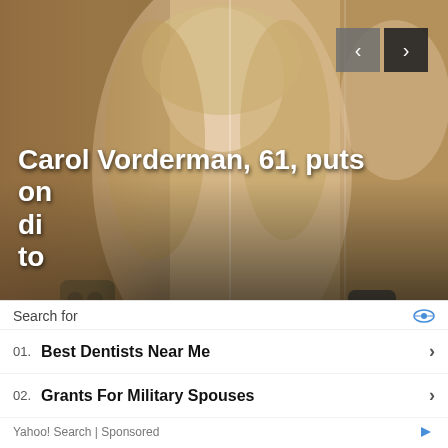[Figure (photo): A woman with long blonde hair taking a mirror selfie with a smartphone. The image appears as a slideshow with navigation arrows (prev/back and next/forward) in the upper right corner. Multiple reflections visible.]
Carol Vorderman, 61, puts on...
Search for
01. Best Dentists Near Me
02. Grants For Military Spouses
Yahoo! Search | Sponsored